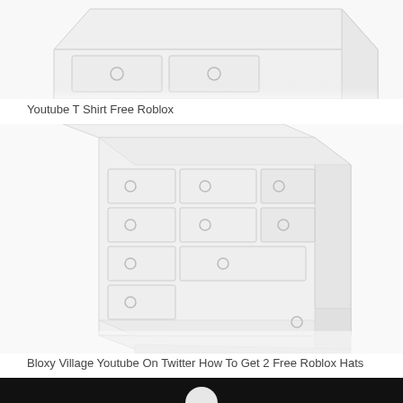[Figure (illustration): Partial top view of a white dresser/chest of drawers, cropped at top of page]
Youtube T Shirt Free Roblox
[Figure (illustration): Full view of a white chest of drawers/dresser with multiple drawers and round knobs, angled perspective view]
Bloxy Village Youtube On Twitter How To Get 2 Free Roblox Hats
[Figure (photo): Bottom partial image showing dark background, beginning of another image]